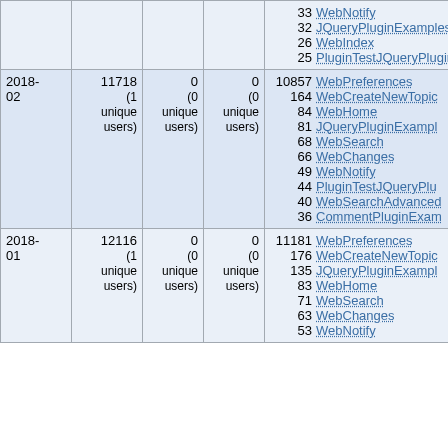| Date | Views | Edits | Contrib | Top pages |
| --- | --- | --- | --- | --- |
|  |  |  |  | 33 WebNotify
32 JQueryPluginExamples
26 WebIndex
25 PluginTestJQueryPlugin |
| 2018-02 | 11718
(1 unique users) | 0
(0 unique users) | 0
(0 unique users) | 10857 WebPreferences
164 WebCreateNewTopic
84 WebHome
81 JQueryPluginExamples
68 WebSearch
66 WebChanges
49 WebNotify
44 PluginTestJQueryPlugin
40 WebSearchAdvanced
36 CommentPluginExample |
| 2018-01 | 12116
(1 unique users) | 0
(0 unique users) | 0
(0 unique users) | 11181 WebPreferences
176 WebCreateNewTopic
135 JQueryPluginExamples
83 WebHome
71 WebSearch
63 WebChanges
53 WebNotify |